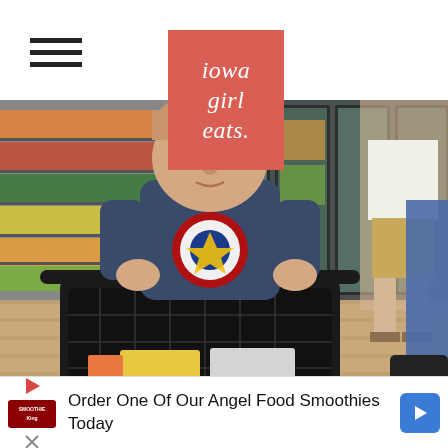[Figure (logo): Iowa Girl Eats logo — white italic serif text on coral/salmon red square background reading 'iowa girl eats.']
[Figure (photo): Young toddler boy wearing a Captain America t-shirt sitting in a black shopping basket cart in a grocery store, with refrigerated beverage aisles in the background and other shoppers visible.]
Order One Of Our Angel Food Smoothies Today